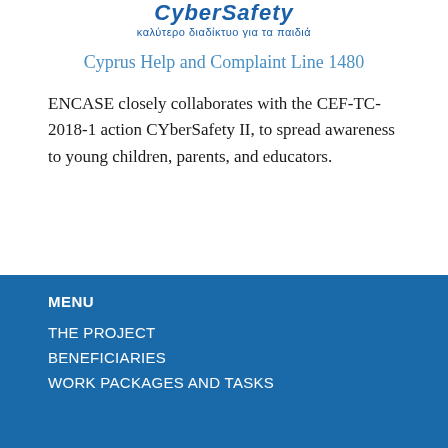[Figure (logo): CyberSafety II logo with Greek text 'καλύτερο διαδίκτυο για τα παιδιά']
Cyprus Help and Complaint Line 1480
ENCASE closely collaborates with the CEF-TC-2018-1 action CYberSafety II, to spread awareness to young children, parents, and educators.
MENU
THE PROJECT
BENEFICIARIES
WORK PACKAGES AND TASKS